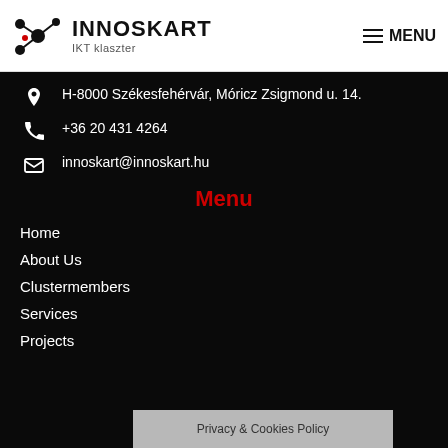[Figure (logo): Innoskart IKT klaszter logo with network graph icon]
MENU
H-8000 Székesfehérvár, Móricz Zsigmond u. 14.
+36 20 431 4264
innoskart@innoskart.hu
Menu
Home
About Us
Clustermembers
Services
Projects
Privacy & Cookies Policy